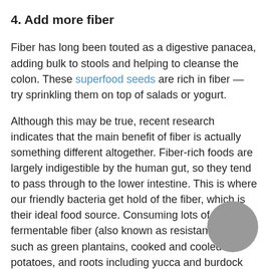4. Add more fiber
Fiber has long been touted as a digestive panacea, adding bulk to stools and helping to cleanse the colon. These superfood seeds are rich in fiber — try sprinkling them on top of salads or yogurt.
Although this may be true, recent research indicates that the main benefit of fiber is actually something different altogether. Fiber-rich foods are largely indigestible by the human gut, so they tend to pass through to the lower intestine. This is where our friendly bacteria get hold of the fiber, which is their ideal food source. Consuming lots of fermentable fiber (also known as resistant starch), such as green plantains, cooked and cooled potatoes, and roots including yucca and burdock can help support a robust and thriving intestinal microbiome.